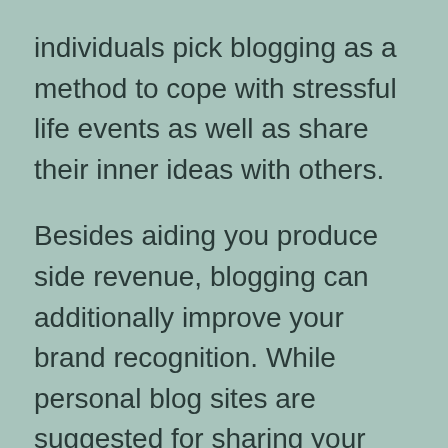individuals pick blogging as a method to cope with stressful life events as well as share their inner ideas with others.
Besides aiding you produce side revenue, blogging can additionally improve your brand recognition. While personal blog sites are suggested for sharing your interests, service blogs are created to develop brand name recognition. Organizations concentrate on sharing market expertise as well as information and also transform potential clients. With a blog, you can easily connect with your target market as well as share your knowledge. So